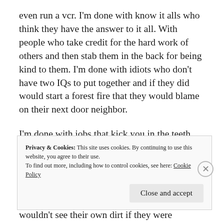even run a vcr. I'm done with know it alls who think they have the answer to it all. With people who take credit for the hard work of others and then stab them in the back for being kind to them. I'm done with idiots who don't have two IQs to put together and if they did would start a forest fire that they would blame on their next door neighbor.
I'm done with jobs that kick you in the teeth whilst embracing all your hard work as their own. With morons who question everyone but themselves. With accusers who never look at or own up to their misdeeds. With slackers and shits. Bitter bitches and lazy asses. Pigs who wouldn't see their own dirt if they were sleeping in it. Control
Privacy & Cookies: This site uses cookies. By continuing to use this website, you agree to their use.
To find out more, including how to control cookies, see here: Cookie Policy
Close and accept